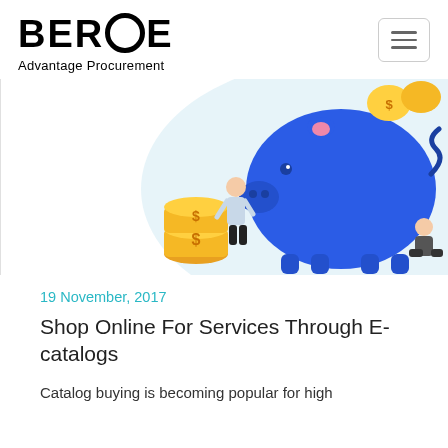[Figure (logo): BEROE Advantage Procurement logo with circular O letterform]
Advantage Procurement
[Figure (illustration): Colorful illustration showing a blue piggy bank, gold coins, and small human figures representing financial savings concept]
19 November, 2017
Shop Online For Services Through E-catalogs
Catalog buying is becoming popular for high